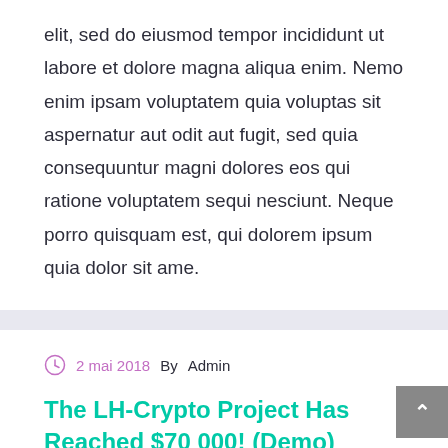elit, sed do eiusmod tempor incididunt ut labore et dolore magna aliqua enim. Nemo enim ipsam voluptatem quia voluptas sit aspernatur aut odit aut fugit, sed quia consequuntur magni dolores eos qui ratione voluptatem sequi nesciunt. Neque porro quisquam est, qui dolorem ipsum quia dolor sit ame.
2 mai 2018 By Admin
The LH-Crypto Project Has Reached $70 000! (Demo)
Lorem ipsum dolor sit amet, consectetur adipisicing